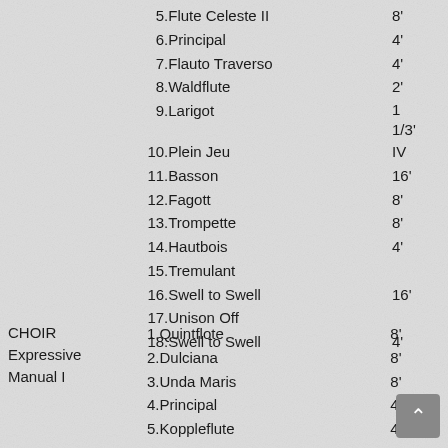5. Flute Celeste II — 8'
6. Principal — 4'
7. Flauto Traverso — 4'
8. Waldflute — 2'
9. Larigot — 1 1/3'
10. Plein Jeu — IV
11. Basson — 16'
12. Fagott — 8'
13. Trompette — 8'
14. Hautbois — 4'
15. Tremulant
16. Swell to Swell — 16'
17. Unison Off
18. Swell to Swell — 4'
CHOIR Expressive Manual I
1. Quintflote — 8'
2. Dulciana — 8'
3. Unda Maris — 8'
4. Principal — 4'
5. Koppleflute — 4'